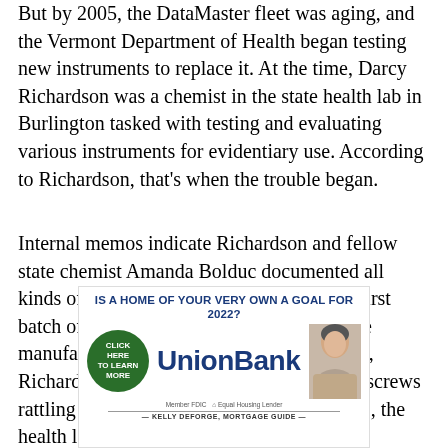But by 2005, the DataMaster fleet was aging, and the Vermont Department of Health began testing new instruments to replace it. At the time, Darcy Richardson was a chemist in the state health lab in Burlington tasked with testing and evaluating various instruments for evidentiary use. According to Richardson, that’s when the trouble began.
Internal memos indicate Richardson and fellow state chemist Amanda Bolduc documented all kinds of problems with the machines. The first batch of 10 DataMasters was returned to the manufacturer because they wouldn’t turn on, Richardson says. Others arrived with loose screws rattling around in boxes. In another instance, the health lab returned a
[Figure (other): Union Bank advertisement. Headline: IS A HOME OF YOUR VERY OWN A GOAL FOR 2022? Features a green circle button with CLICK HERE to learn more, the UnionBank logo in dark blue, Member FDIC Equal Housing Lender text, a divider line, and KELLY DEFORGE, MORTGAGE GUIDE caption. A photo of a smiling woman is on the right side.]